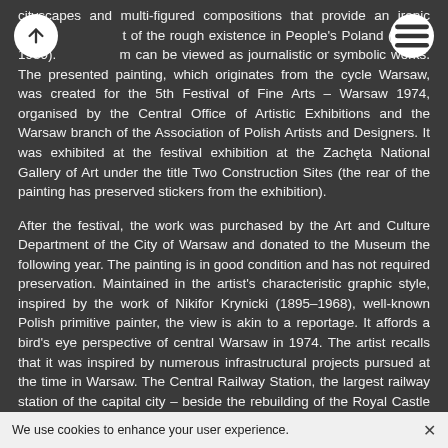cityscapes and multi-figured compositions that provide an ironic t of the rough existence in People's Poland (1944–1989). m can be viewed as journalistic or symbolic works. The presented painting, which originates from the cycle Warsaw, was created for the 5th Festival of Fine Arts – Warsaw 1974, organised by the Central Office of Artistic Exhibitions and the Warsaw branch of the Association of Polish Artists and Designers. It was exhibited at the festival exhibition at the Zachęta National Gallery of Art under the title Two Construction Sites (the rear of the painting has preserved stickers from the exhibition).
After the festival, the work was purchased by the Art and Culture Department of the City of Warsaw and donated to the Museum the following year. The painting is in good condition and has not required preservation. Maintained in the artist's characteristic graphic style, inspired by the work of Nikifor Krynicki (1895–1968), well-known Polish primitive painter, the view is akin to a reportage. It affords a bird's eye perspective of central Warsaw in 1974. The artist recalls that it was inspired by numerous infrastructural projects pursued at the time in Warsaw. The Central Railway Station, the largest railway station of the capital city – beside the rebuilding of the Royal Castle and the construction of Łazienkowska Route, connecting the city centre with the part of Warsaw on the right bank of the Vistula River
We use cookies to enhance your user experience.